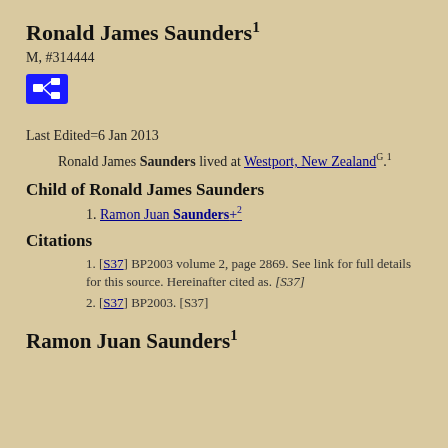Ronald James Saunders1
M, #314444
[Figure (other): Blue icon with family tree / relationship diagram symbol]
Last Edited=6 Jan 2013
Ronald James Saunders lived at Westport, New ZealandG.1
Child of Ronald James Saunders
1. Ramon Juan Saunders+2
Citations
1. [S37] BP2003 volume 2, page 2869. See link for full details for this source. Hereinafter cited as. [S37]
2. [S37] BP2003. [S37]
Ramon Juan Saunders1